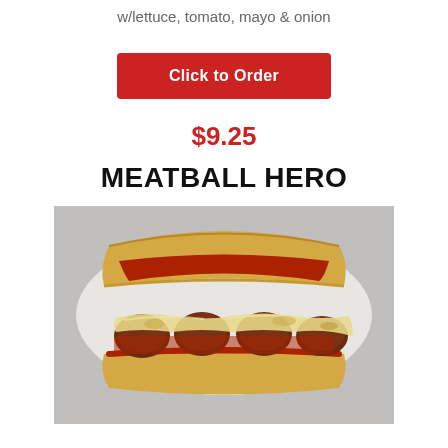w/lettuce, tomato, mayo & onion
Click to Order
$9.25
MEATBALL HERO
[Figure (photo): Photo of a meatball hero sandwich open-faced on a hoagie roll, showing meatballs covered in marinara sauce and melted white cheese, served on white paper on a gray surface.]